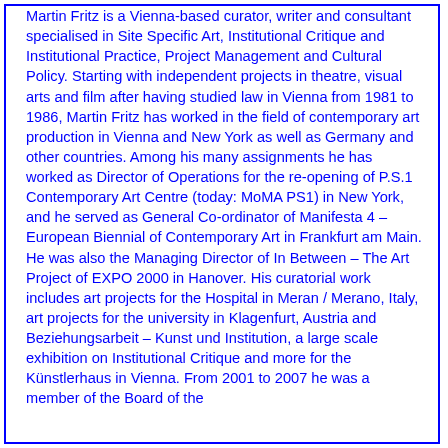Martin Fritz is a Vienna-based curator, writer and consultant specialised in Site Specific Art, Institutional Critique and Institutional Practice, Project Management and Cultural Policy. Starting with independent projects in theatre, visual arts and film after having studied law in Vienna from 1981 to 1986, Martin Fritz has worked in the field of contemporary art production in Vienna and New York as well as Germany and other countries. Among his many assignments he has worked as Director of Operations for the re-opening of P.S.1 Contemporary Art Centre (today: MoMA PS1) in New York, and he served as General Co-ordinator of Manifesta 4 – European Biennial of Contemporary Art in Frankfurt am Main. He was also the Managing Director of In Between – The Art Project of EXPO 2000 in Hanover. His curatorial work includes art projects for the Hospital in Meran / Merano, Italy, art projects for the university in Klagenfurt, Austria and Beziehungsarbeit – Kunst und Institution, a large scale exhibition on Institutional Critique and more for the Künstlerhaus in Vienna. From 2001 to 2007 he was a member of the Board of the